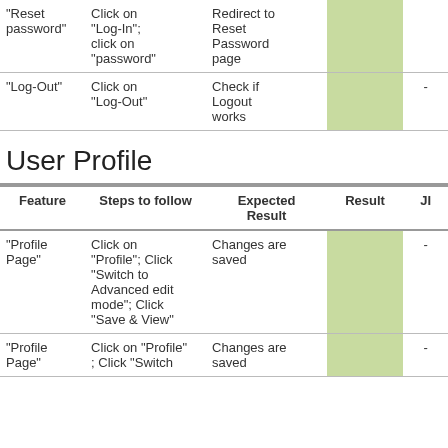| Feature | Steps to follow | Expected Result | Result | JI |
| --- | --- | --- | --- | --- |
| "Reset password" | Click on "Log-In"; click on "password" | Redirect to Reset Password page |  |  |
| "Log-Out" | Click on "Log-Out" | Check if Logout works |  | - - |
User Profile
| Feature | Steps to follow | Expected Result | Result | JI |
| --- | --- | --- | --- | --- |
| "Profile Page" | Click on "Profile"; Click "Switch to Advanced edit mode"; Click "Save & View" | Changes are saved |  | - |
| "Profile Page" | Click on "Profile" ; Click "Switch | Changes are saved |  | - |